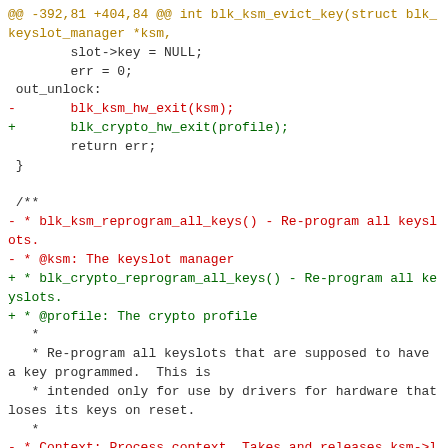[Figure (screenshot): A unified diff / code patch showing changes to blk_ksm_evict_key and blk_ksm_reprogram_all_keys functions, with removed lines in red and added lines in green, context lines in dark, and hunk header in yellow/brown.]